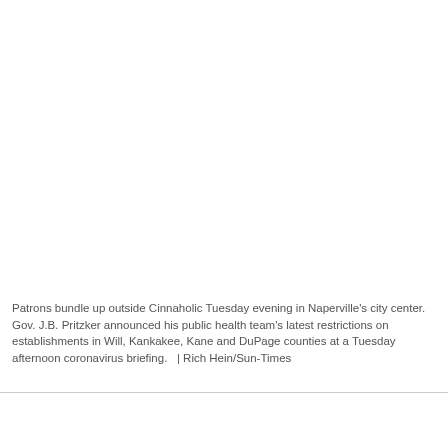[Figure (photo): Photo area — white/blank space representing a photo of patrons outside Cinnaholic in Naperville]
Patrons bundle up outside Cinnaholic Tuesday evening in Naperville's city center. Gov. J.B. Pritzker announced his public health team's latest restrictions on establishments in Will, Kankakee, Kane and DuPage counties at a Tuesday afternoon coronavirus briefing.  | Rich Hein/Sun-Times